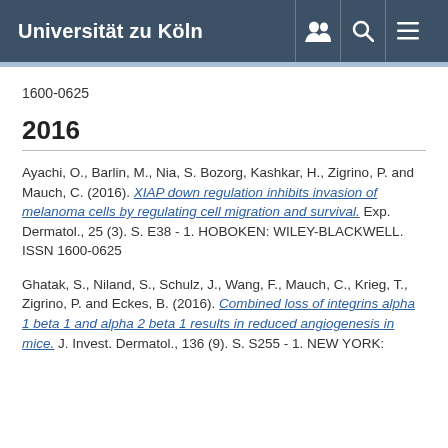Universität zu Köln
1600-0625
2016
Ayachi, O., Barlin, M., Nia, S. Bozorg, Kashkar, H., Zigrino, P. and Mauch, C. (2016). XIAP down regulation inhibits invasion of melanoma cells by regulating cell migration and survival. Exp. Dermatol., 25 (3). S. E38 - 1. HOBOKEN: WILEY-BLACKWELL. ISSN 1600-0625
Ghatak, S., Niland, S., Schulz, J., Wang, F., Mauch, C., Krieg, T., Zigrino, P. and Eckes, B. (2016). Combined loss of integrins alpha 1 beta 1 and alpha 2 beta 1 results in reduced angiogenesis in mice. J. Invest. Dermatol., 136 (9). S. S255 - 1. NEW YORK: